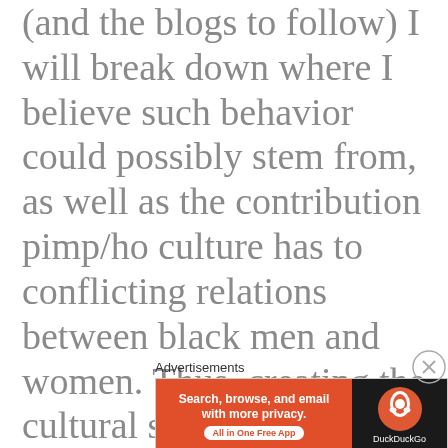(and the blogs to follow) I will break down where I believe such behavior could possibly stem from, as well as the contribution pimp/ho culture has to conflicting relations between black men and women. Thus, creating the cultural system of Pimparchy.
Advertisements
[Figure (other): DuckDuckGo advertisement banner: orange left section with text 'Search, browse, and email with more privacy.' and 'All in One Free App' pill button; dark right section with DuckDuckGo logo and name.]